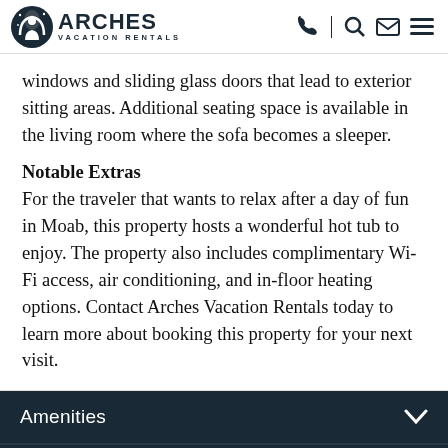ARCHES VACATION RENTALS
windows and sliding glass doors that lead to exterior sitting areas. Additional seating space is available in the living room where the sofa becomes a sleeper.
Notable Extras
For the traveler that wants to relax after a day of fun in Moab, this property hosts a wonderful hot tub to enjoy. The property also includes complimentary Wi-Fi access, air conditioning, and in-floor heating options. Contact Arches Vacation Rentals today to learn more about booking this property for your next visit.
Amenities
Availability
BOOK NOW